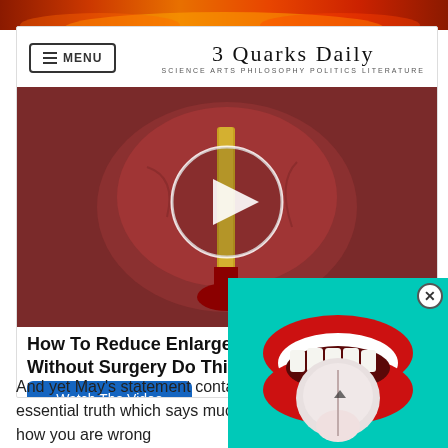[Figure (screenshot): Top banner advertisement with fire/flame imagery in red and orange gradient]
3 Quarks Daily — SCIENCE ARTS PHILOSOPHY POLITICS LITERATURE
[Figure (screenshot): Medical animation video thumbnail showing enlarged prostate anatomy with play button circle overlay]
How To Reduce Enlarged Prostates Without Surgery Do This Daily
[Figure (screenshot): Blue 'Watch The Video' button]
Sponsored Ad
267 (vote counter with blue upvote arrow)
And yet May's statement contains an essential truth which says much about how you are wrong
[Figure (screenshot): Pop-up overlay on teal/turquoise background showing open mouth with red lips and tongue sticking out, with X close button]